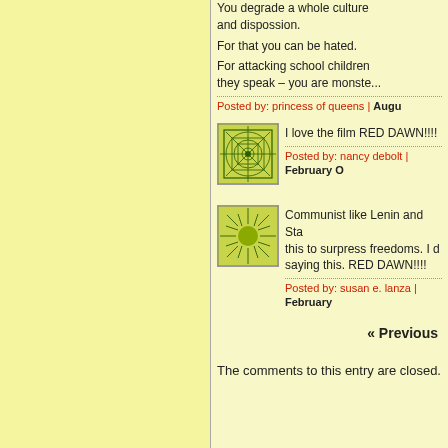You degrade a whole culture and dispossion.
For that you can be hated.
For attacking school children they speak – you are monsters.
Posted by: princess of queens | Augu
[Figure (illustration): Green geometric web/grid pattern avatar icon]
I love the film RED DAWN!!!!
Posted by: nancy debolt | February O
[Figure (illustration): Green sunburst/rays pattern avatar icon]
Communist like Lenin and Stalin used this to surpress freedoms. I do not like saying this. RED DAWN!!!!
Posted by: susan e. lanza | February
« Previous
The comments to this entry are closed.